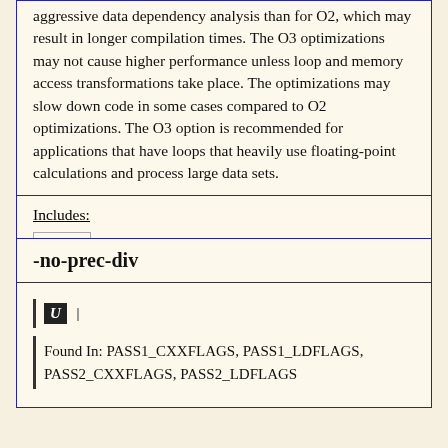aggressive data dependency analysis than for O2, which may result in longer compilation times. The O3 optimizations may not cause higher performance unless loop and memory access transformations take place. The optimizations may slow down code in some cases compared to O2 optimizations. The O3 option is recommended for applications that have loops that heavily use floating-point calculations and process large data sets.
Includes:
-O2
-no-prec-div
U
Found In: PASS1_CXXFLAGS, PASS1_LDFLAGS, PASS2_CXXFLAGS, PASS2_LDFLAGS